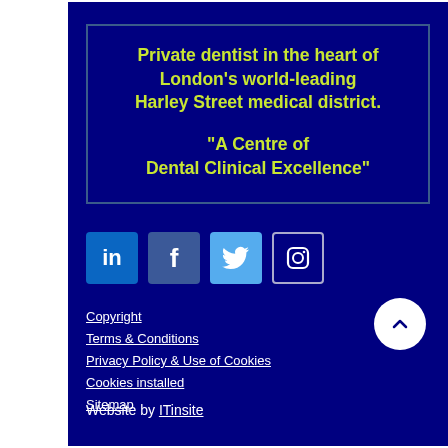Private dentist in the heart of London's world-leading Harley Street medical district.

"A Centre of Dental Clinical Excellence"
[Figure (infographic): Row of four social media icons: LinkedIn (blue), Facebook (dark blue), Twitter (light blue), Instagram (outlined)]
Copyright
Terms & Conditions
Privacy Policy & Use of Cookies
Cookies installed
Sitemap
Website by ITinsite